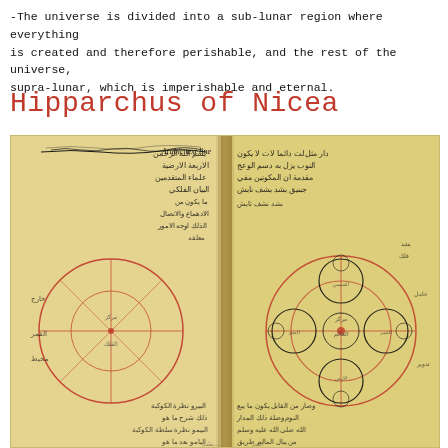-The universe is divided into a sub-lunar region where everything is created and therefore perishable, and the rest of the universe, supra-lunar, which is imperishable and eternal.
Hipparchus of Nicea
[Figure (photo): A photograph of an open medieval Arabic manuscript showing astronomical diagrams. The left page contains a geometric circle diagram with lines inside it, drawn in red/orange ink. The right page contains more complex epicycle diagrams also in red/orange ink with black circles. Both pages are covered in Arabic text handwritten in black ink on aged parchment.]